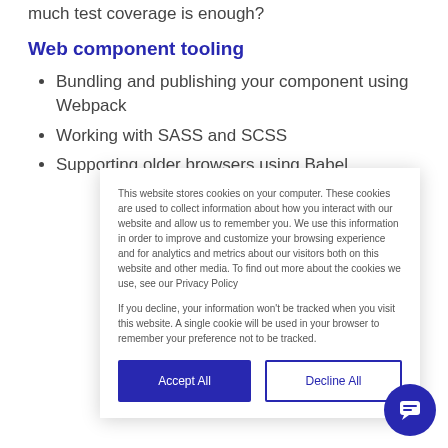much test coverage is enough?
Web component tooling
Bundling and publishing your component using Webpack
Working with SASS and SCSS
Supporting older browsers using Babel
This website stores cookies on your computer. These cookies are used to collect information about how you interact with our website and allow us to remember you. We use this information in order to improve and customize your browsing experience and for analytics and metrics about our visitors both on this website and other media. To find out more about the cookies we use, see our Privacy Policy
If you decline, your information won't be tracked when you visit this website. A single cookie will be used in your browser to remember your preference not to be tracked.
Accept All | Decline All